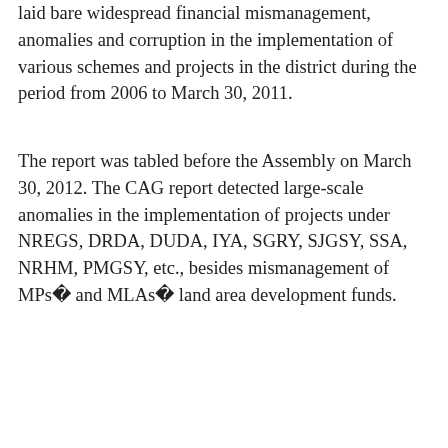laid bare widespread financial mismanagement, anomalies and corruption in the implementation of various schemes and projects in the district during the period from 2006 to March 30, 2011.
The report was tabled before the Assembly on March 30, 2012. The CAG report detected large-scale anomalies in the implementation of projects under NREGS, DRDA, DUDA, IYA, SGRY, SJGSY, SSA, NRHM, PMGSY, etc., besides mismanagement of MPs� and MLAs� land area development funds.